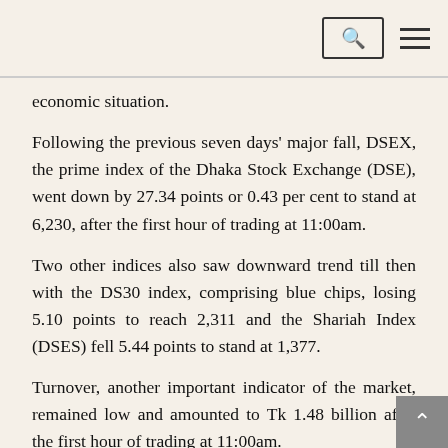[search icon] [menu icon]
economic situation.
Following the previous seven days' major fall, DSEX, the prime index of the Dhaka Stock Exchange (DSE), went down by 27.34 points or 0.43 per cent to stand at 6,230, after the first hour of trading at 11:00am.
Two other indices also saw downward trend till then with the DS30 index, comprising blue chips, losing 5.10 points to reach 2,311 and the Shariah Index (DSES) fell 5.44 points to stand at 1,377.
Turnover, another important indicator of the market, remained low and amounted to Tk 1.48 billion after the first hour of trading at 11:00am.
Market operators said multiple factors such as